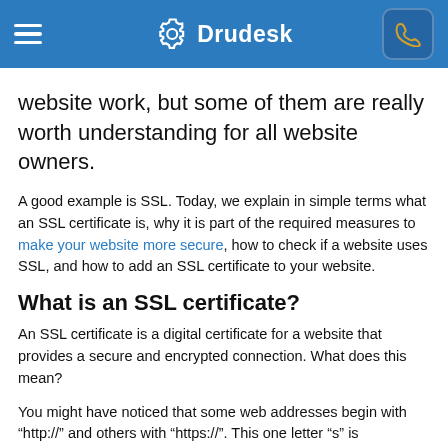Drudesk
website work, but some of them are really worth understanding for all website owners.
A good example is SSL. Today, we explain in simple terms what an SSL certificate is, why it is part of the required measures to make your website more secure, how to check if a website uses SSL, and how to add an SSL certificate to your website.
What is an SSL certificate?
An SSL certificate is a digital certificate for a website that provides a secure and encrypted connection. What does this mean?
You might have noticed that some web addresses begin with “http://” and others with “https://”. This one letter “s” is responsible for safety. “Https://” in a URL means that a website is protected by an SSL certificate. It means that a website is